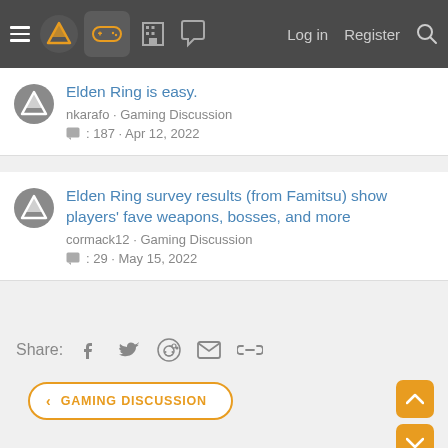Navigation bar with logo, gamepad icon, menu icons, Log in, Register, Search
Elden Ring is easy.
nkarafo · Gaming Discussion
: 187 · Apr 12, 2022
Elden Ring survey results (from Famitsu) show players' fave weapons, bosses, and more
cormack12 · Gaming Discussion
: 29 · May 15, 2022
Share:
< GAMING DISCUSSION